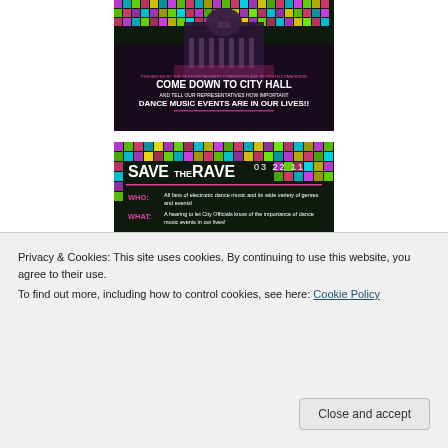[Figure (illustration): Promotional poster: 'Come Down to City Hall and tell our representatives how important dance music events are in our lives!!' with image of a government building lit with colorful lights]
[Figure (illustration): Save The Rave event flyer dated 03 22 11 with WHO, WHAT, WHEN, WHERE, WHY, HOW details about a hearing at San Francisco City Hall Room 408 on Tuesday March 22nd 2011 7-7:30pm]
Privacy & Cookies: This site uses cookies. By continuing to use this website, you agree to their use.
To find out more, including how to control cookies, see here: Cookie Policy
[Figure (photo): Partial image at bottom of page, colorful event-related photo]